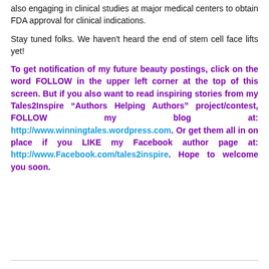also engaging in clinical studies at major medical centers to obtain FDA approval for clinical indications.
Stay tuned folks. We haven't heard the end of stem cell face lifts yet!
To get notification of my future beauty postings, click on the word FOLLOW in the upper left corner at the top of this screen. But if you also want to read inspiring stories from my Tales2Inspire “Authors Helping Authors” project/contest, FOLLOW my blog at: http://www.winningtales.wordpress.com. Or get them all in on place if you LIKE my Facebook author page at: http://www.Facebook.com/tales2inspire. Hope to welcome you soon.